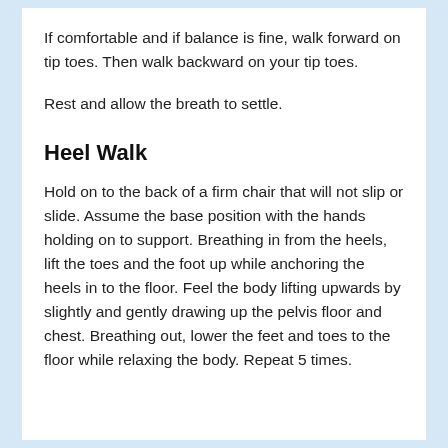If comfortable and if balance is fine, walk forward on tip toes. Then walk backward on your tip toes.
Rest and allow the breath to settle.
Heel Walk
Hold on to the back of a firm chair that will not slip or slide. Assume the base position with the hands holding on to support. Breathing in from the heels, lift the toes and the foot up while anchoring the heels in to the floor. Feel the body lifting upwards by slightly and gently drawing up the pelvis floor and chest. Breathing out, lower the feet and toes to the floor while relaxing the body. Repeat 5 times.